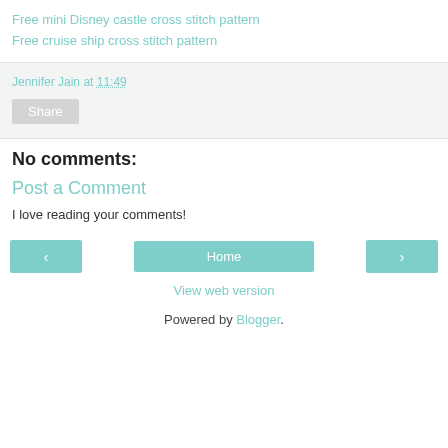Free mini Disney castle cross stitch pattern
Free cruise ship cross stitch pattern
Jennifer Jain at 11:49
Share
No comments:
Post a Comment
I love reading your comments!
< Home >
View web version
Powered by Blogger.